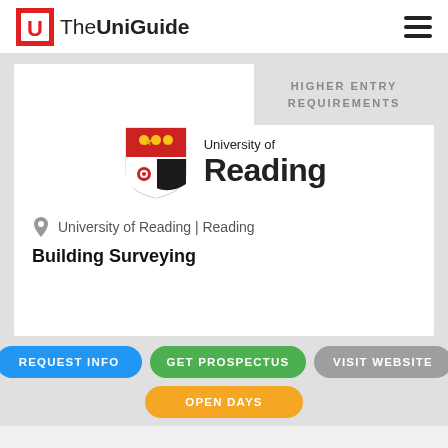[Figure (logo): TheUniGuide logo with red U icon and text 'The UniGuide']
HIGHER ENTRY REQUIREMENTS
[Figure (logo): University of Reading shield logo with red/black quarters, gold stars, and a rose]
University of Reading | Reading
Building Surveying
REQUEST INFO
GET PROSPECTUS
VISIT WEBSITE
OPEN DAYS